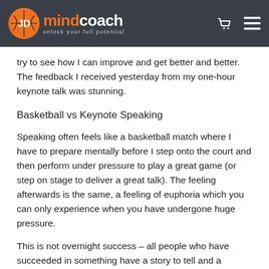JD mindcoach – unlock your full potential
try to see how I can improve and get better and better. The feedback I received yesterday from my one-hour keynote talk was stunning.
Basketball vs Keynote Speaking
Speaking often feels like a basketball match where I have to prepare mentally before I step onto the court and then perform under pressure to play a great game (or step on stage to deliver a great talk). The feeling afterwards is the same, a feeling of euphoria which you can only experience when you have undergone huge pressure.
This is not overnight success – all people who have succeeded in something have a story to tell and a journey of pain to describe. The key to success is to keep going, to bounce back and to stay as positive as you can. We have to build momentum and then keep that flywheel spinning.